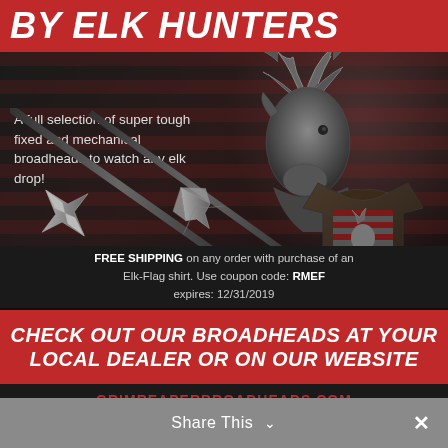BY ELK HUNTERS
A full selection of super tough fixed and mechanical broadheads to watch any elk drop!
[Figure (photo): Broadhead arrowheads (fixed and mechanical) and an elk-flag t-shirt against a dark background with elk silhouette and American flag]
FREE SHIPPING on any order with purchase of an Elk-Flag shirt. Use coupon code: RMEF expires: 12/31/2019
CHECK OUT OUR BROADHEADS AT YOUR LOCAL DEALER OR ON OUR WEBSITE
GRIMREAPERBROADHEADS.COM
MADE IN THE USA
Share This